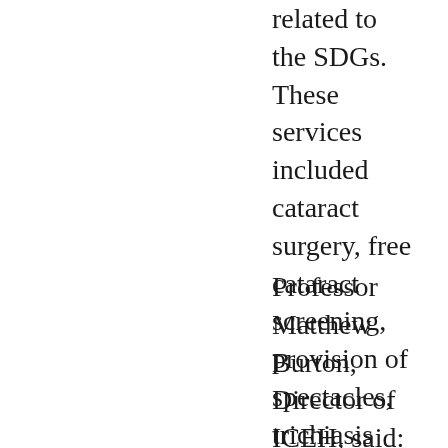related to the SDGs. These services included cataract surgery, free cataract screening, provision of spectacles, trichiasis surgery, rehabilitation services, and rural community eye health volunteers.
Professor Matthew Burton, Director of ICEH, said: “Eye health is often overlooked, but it is an important factor for improving global health and quality of life. Our study, which is one of only two studies looking at the connections between